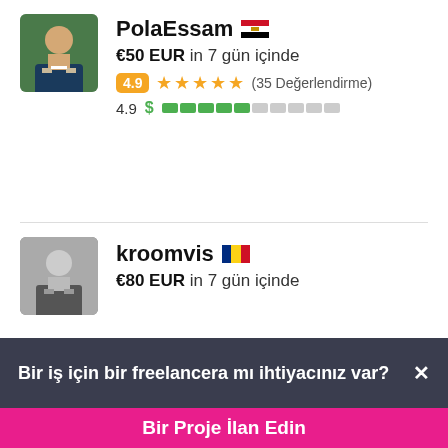[Figure (photo): Profile photo of PolaEssam: man in suit, green background]
PolaEssam 🇪🇬
€50 EUR in 7 gün içinde
4.9 ★★★★★ (35 Değerlendirme)
4.9 $ ▓▓▓▓▓░░░░░
[Figure (photo): Profile photo of kroomvis: grayscale photo of person]
kroomvis 🇷🇴
€80 EUR in 7 gün içinde
Bir iş için bir freelancera mı ihtiyacınız var? ×
Bir Proje İlan Edin